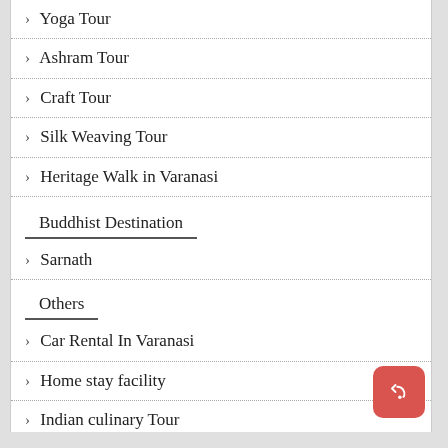Yoga Tour
Ashram Tour
Craft Tour
Silk Weaving Tour
Heritage Walk in Varanasi
Buddhist Destination
Sarnath
Others
Car Rental In Varanasi
Home stay facility
Indian culinary Tour
Marriage in Indian Tradition